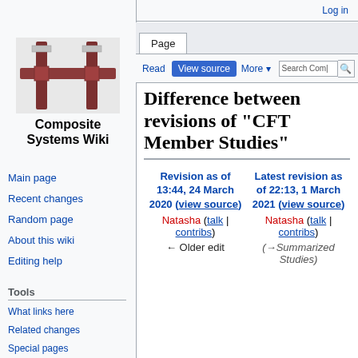Log in
[Figure (logo): Composite Systems Wiki logo with crossed steel beams in brown/red]
Composite Systems Wiki
Difference between revisions of "CFT Member Studies"
Revision as of 13:44, 24 March 2020 (view source)
Natasha (talk | contribs)
← Older edit
Latest revision as of 22:13, 1 March 2021 (view source)
Natasha (talk | contribs)
(→Summarized Studies)
Main page
Recent changes
Random page
About this wiki
Editing help
Tools
What links here
Related changes
Special pages
Printable version
Permanent link
Page information